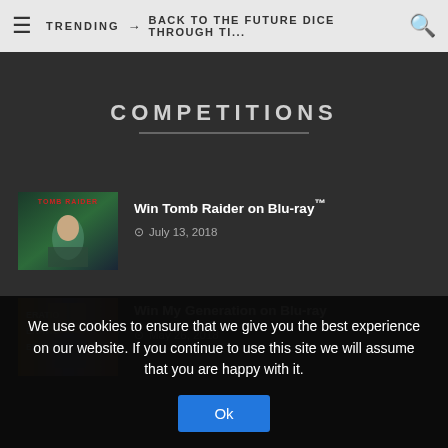TRENDING → BACK TO THE FUTURE DICE THROUGH TI...
COMPETITIONS
Win Tomb Raider on Blu-ray™ — July 13, 2018
Win My Generation on Blu-ray — May 26, 2018
We use cookies to ensure that we give you the best experience on our website. If you continue to use this site we will assume that you are happy with it.